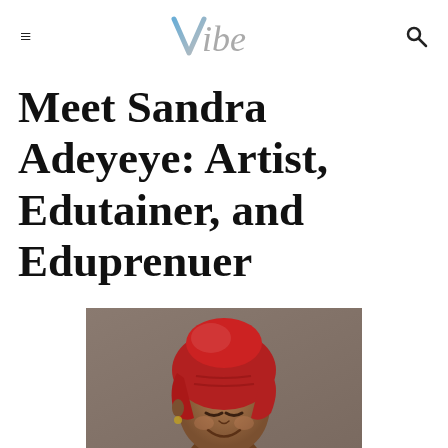Vibe
Meet Sandra Adeyeye: Artist, Edutainer, and Eduprenuer
[Figure (photo): Portrait photograph of Sandra Adeyeye, a woman wearing a red head wrap, smiling with eyes downcast, against a neutral grey-brown background.]